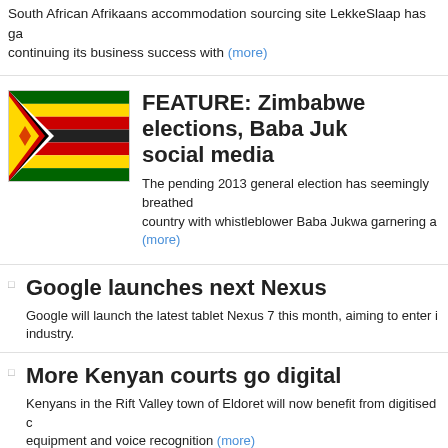South African Afrikaans accommodation sourcing site LekkeSlaap has ga... continuing its business success with (more)
FEATURE: Zimbabwe elections, Baba Juk... social media
The pending 2013 general election has seemingly breathed... country with whistleblower Baba Jukwa garnering a (more)
Google launches next Nexus
Google will launch the latest tablet Nexus 7 this month, aiming to enter i... industry.
More Kenyan courts go digital
Kenyans in the Rift Valley town of Eldoret will now benefit from digitised c... equipment and voice recognition (more)
Victoria Falls now a cyber city
Liquid Telecom Zimbabwe has announced the completion f... Falls area in preparation for the upcoming United (more)